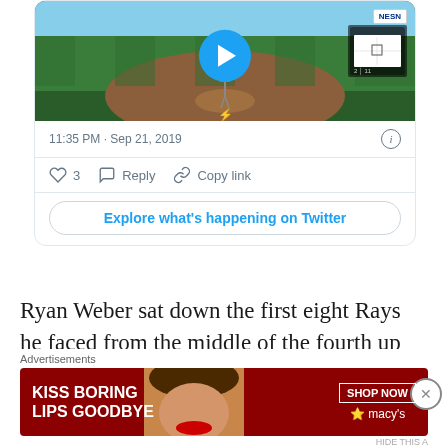[Figure (screenshot): Baseball video still showing pitcher on mound, with play button overlay and NESN logo badge in top right corner]
11:35 PM · Sep 21, 2019
3  Reply  Copy link
Explore what's happening on Twitter
Ryan Weber sat down the first eight Rays he faced from the middle of the fourth up until Wendle reached on a two-out single in the
Advertisements
[Figure (photo): Ad banner: KISS BORING LIPS GOODBYE with woman's face showing red lips; SHOP NOW and Macy's star logo on right side]